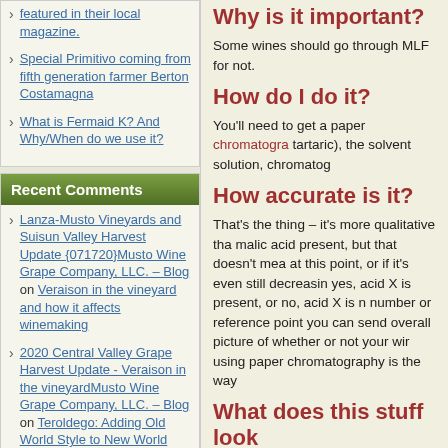featured in their local magazine.
Special Primitivo coming from fifth generation farmer Berton Costamagna
What is Fermaid K? And Why/When do we use it?
Recent Comments
Lanza-Musto Vineyards and Suisun Valley Harvest Update {071720}Musto Wine Grape Company, LLC. – Blog on Veraison in the vineyard and how it affects winemaking
2020 Central Valley Grape Harvest Update - Veraison in the vineyardMusto Wine Grape Company, LLC. – Blog on Teroldego: Adding Old World Style to New World Wines
Winemaking Spotlight - Chilean CarmenereMusto
Why is it important?
Some wines should go through MLF for not.
How do I do it?
You'll need to get a paper chromatography tartaric), the solvent solution, chromatog
How accurate is it?
That's the thing – it's more qualitative tha malic acid present, but that doesn't mea at this point, or if it's even still decreasin yes, acid X is present, or no, acid X is n number or reference point you can send overall picture of whether or not your wir using paper chromatography is the way
What does this stuff look
[Figure (photo): Blurred photo showing round light-colored orbs on a teal/green background, appears to be a chromatography paper or similar lab result]